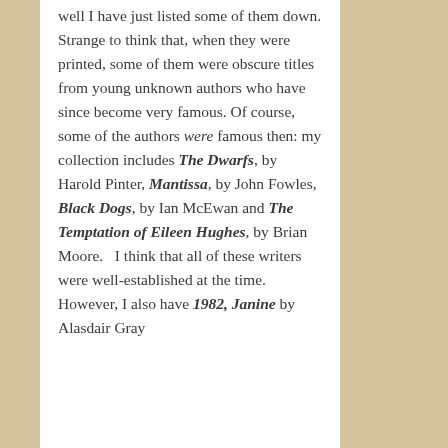well I have just listed some of them down. Strange to think that, when they were printed, some of them were obscure titles from young unknown authors who have since become very famous. Of course, some of the authors were famous then: my collection includes The Dwarfs, by Harold Pinter, Mantissa, by John Fowles, Black Dogs, by Ian McEwan and The Temptation of Eileen Hughes, by Brian Moore. I think that all of these writers were well-established at the time. However, I also have 1982, Janine by Alasdair Gray